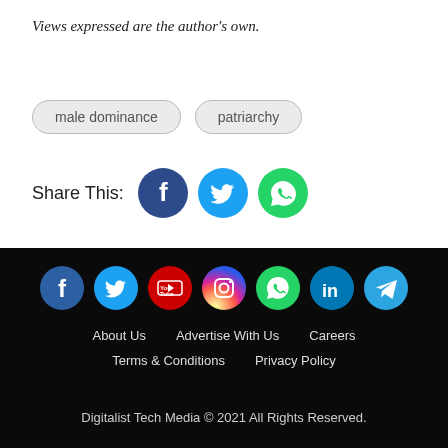Views expressed are the author's own.
male dominance
patriarchy
Share This:
[Figure (infographic): Social share icons: Facebook, Twitter, WhatsApp]
About Us   Advertise With Us   Careers   Terms & Conditions   Privacy Policy   Digitalist Tech Media © 2021 All Rights Reserved.
[Figure (infographic): Footer social media icons: Facebook, Twitter, YouTube, Instagram, WhatsApp, LinkedIn, Telegram]